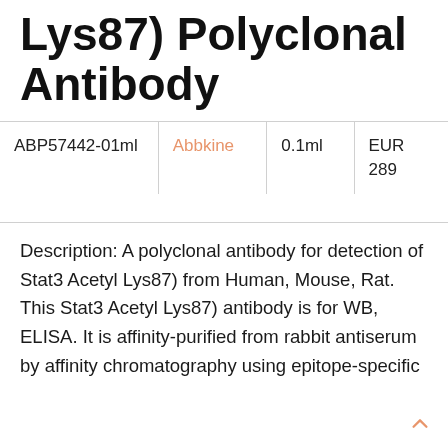Lys87) Polyclonal Antibody
| Product ID | Brand | Volume | Price |
| --- | --- | --- | --- |
| ABP57442-01ml | Abbkine | 0.1ml | EUR 289 |
Description: A polyclonal antibody for detection of Stat3 Acetyl Lys87) from Human, Mouse, Rat. This Stat3 Acetyl Lys87) antibody is for WB, ELISA. It is affinity-purified from rabbit antiserum by affinity chromatography using epitope-specific